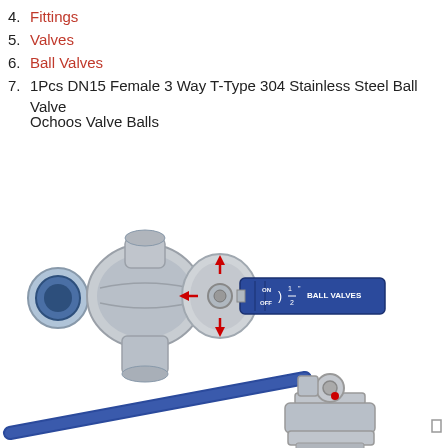4. Fittings
5. Valves
6. Ball Valves
7. 1Pcs DN15 Female 3 Way T-Type 304 Stainless Steel Ball Valve Ochoos Valve Balls
[Figure (photo): Product photo showing two stainless steel ball valves with blue handles. The top valve is a DN15 3-way T-type ball valve shown from the side with red directional arrows indicating flow directions. The bottom shows another ball valve with a long blue lever handle, partially visible from above.]